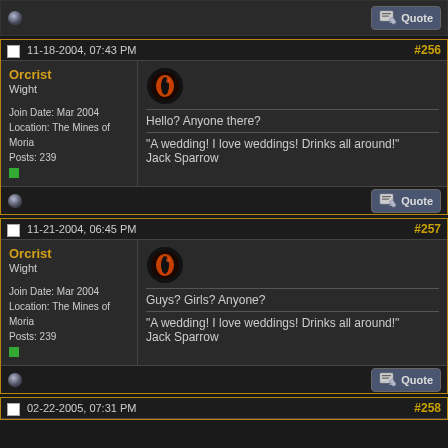[top strip with quote button]
11-18-2004, 07:43 PM  #256
Orcrist
Wight
Join Date: Mar 2004
Location: The Mines of Moria
Posts: 239
Hello? Anyone there?
"A wedding! I love weddings! Drinks all around!"
Jack Sparrow
11-21-2004, 06:45 PM  #257
Orcrist
Wight
Join Date: Mar 2004
Location: The Mines of Moria
Posts: 239
Guys? Girls? Anyone?
"A wedding! I love weddings! Drinks all around!"
Jack Sparrow
02-22-2005, 07:31 PM  #258